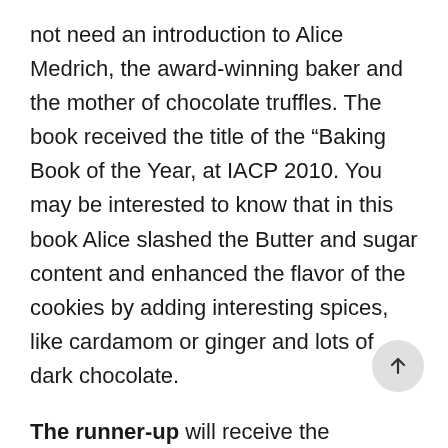not need an introduction to Alice Medrich, the award-winning baker and the mother of chocolate truffles. The book received the title of the “Baking Book of the Year, at IACP 2010. You may be interested to know that in this book Alice slashed the Butter and sugar content and enhanced the flavor of the cookies by adding interesting spices, like cardamom or ginger and lots of dark chocolate.
The runner-up will receive the following book:
Rose’s Christmas Cookies by Rose Levy Beranbaum
a collection of 60 great cookie recipes by the author, who sometimes called the “Baking